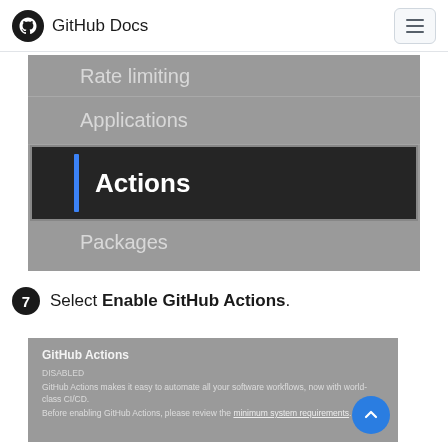GitHub Docs
[Figure (screenshot): GitHub Enterprise admin settings sidebar showing menu items: Rate limiting, Applications, Actions (highlighted/selected with dark background and blue left bar), Packages, Mobile]
7 Select Enable GitHub Actions.
[Figure (screenshot): GitHub Actions settings panel showing title 'GitHub Actions' with description text 'GitHub Actions makes it easy to automate all your software workflows, now with world-class CI/CD. Before enabling GitHub Actions, please review the minimum system requirements.' with a blue scroll-to-top button]